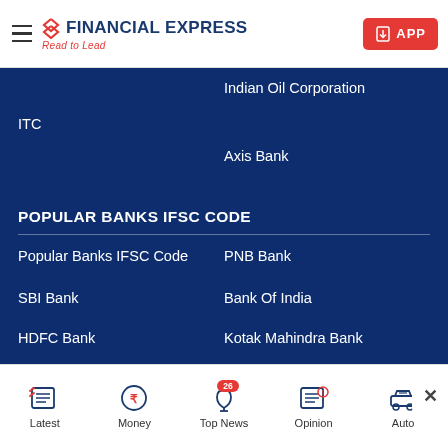Financial Express — Read to Lead — APP
Indian Oil Corporation
ITC
Axis Bank
POPULAR BANKS IFSC CODE
Popular Banks IFSC Code
PNB Bank
SBI Bank
Bank Of India
HDFC Bank
Kotak Mahindra Bank
ICICI Bank
Union Bank Of India
Latest | Money | Top News 26 | Opinion | Auto